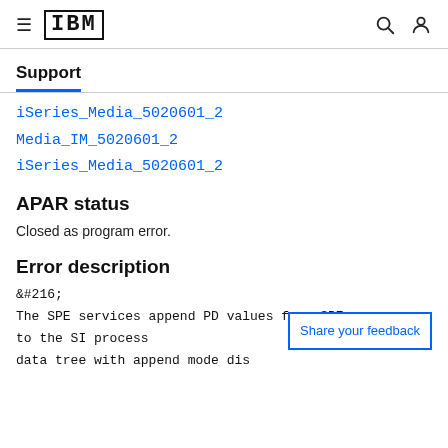IBM Support
iSeries_Media_5020601_2
Media_IM_5020601_2
iSeries_Media_5020601_2
APAR status
Closed as program error.
Error description
&#216;
The SPE services append PD values from SPE to the SI process
data tree with append mode dis